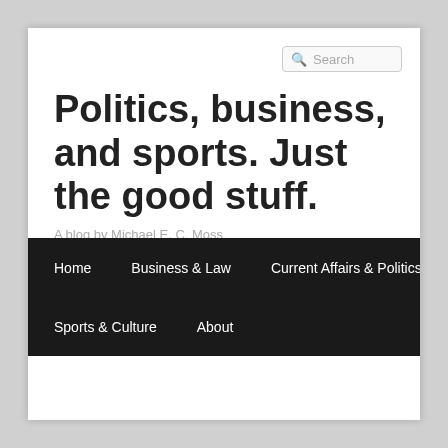[Figure (screenshot): Search box with magnifier icon and placeholder text 'Search']
Politics, business, and sports. Just the good stuff.
A blog by Michael E. C. Moss
Home  Business & Law  Current Affairs & Politics  Sports & Culture  About
← Previous  Next →
SHOULD FOOTBALL